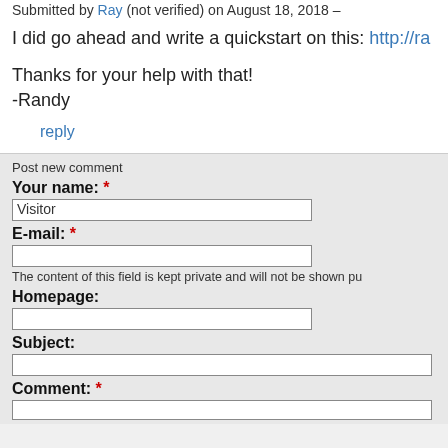Submitted by Ray (not verified) on August 18, 2018
I did go ahead and write a quickstart on this: http://ra
Thanks for your help with that!
-Randy
reply
Post new comment
Your name: *
Visitor
E-mail: *
The content of this field is kept private and will not be shown pu
Homepage:
Subject:
Comment: *